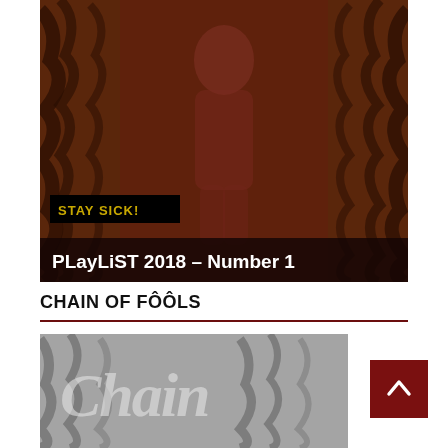[Figure (illustration): Album cover image with tiger stripe background in orange and black, featuring a figure in red against the pattern, with a black banner reading 'STAY SICK!' in yellow text at the bottom. Below the image is a dark overlay bar with the text 'PLayLiST 2018 – Number 1' in white bold text.]
CHAIN OF FÔÔLS
[Figure (photo): Grayscale image showing stylized text reading 'Chain' in a neon/retro sign style with tiger stripes in the background.]